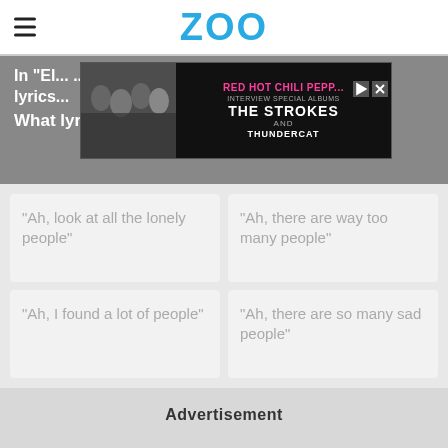ZOO
In "El... lyrics... What lyrics will you hear?
[Figure (screenshot): Advertisement banner for Red Hot Chili Peppers, The Strokes, and Thundercat concert/album, overlaid on a grey background section]
"Ah, look at all the lonely people"
"Ah, there are way too many people"
"Ah, I found a lot of people"
"Ah, there are so many sad people"
Advertisement